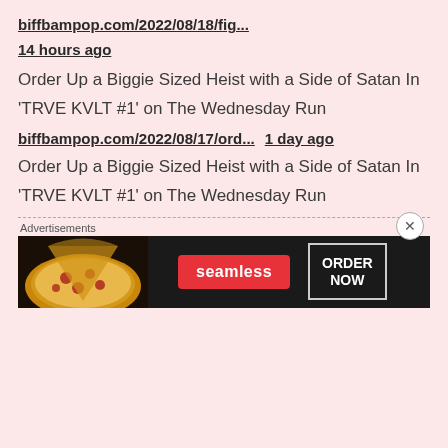biffbampop.com/2022/08/18/fig...
14 hours ago
Order Up a Biggie Sized Heist with a Side of Satan In ‘TRVE KVLT #1’ on The Wednesday Run
biffbampop.com/2022/08/17/ord...   1 day ago
Order Up a Biggie Sized Heist with a Side of Satan In ‘TRVE KVLT #1’ on The Wednesday Run
Advertisements
[Figure (other): Seamless pizza advertisement banner with pizza image on left, Seamless red logo in center, and ORDER NOW button on right, dark background]